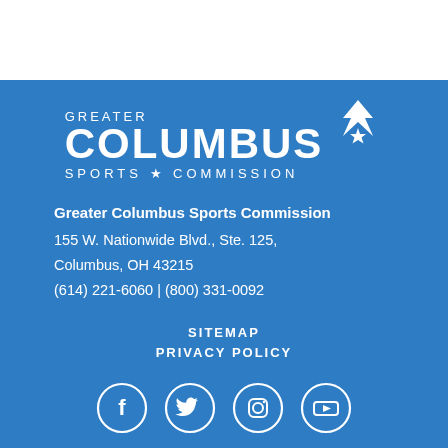[Figure (logo): Greater Columbus Sports Commission logo with medal icon, white text on blue background]
Greater Columbus Sports Commission
155 W. Nationwide Blvd., Ste. 125,
Columbus, OH 43215
(614) 221-6060 | (800) 331-0092
SITEMAP
PRIVACY POLICY
[Figure (infographic): Row of four social media icons (Facebook, Twitter, Instagram, YouTube) as white circles with white icons on blue background]